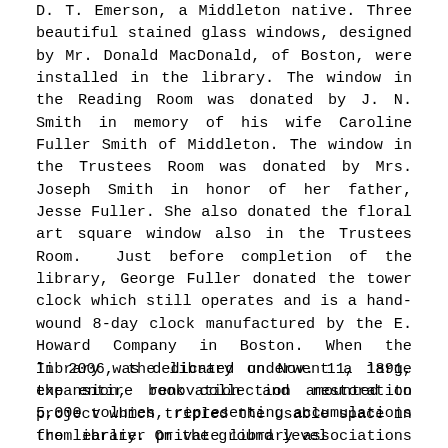D. T. Emerson, a Middleton native. Three beautiful stained glass windows, designed by Mr. Donald MacDonald, of Boston, were installed in the library. The window in the Reading Room was donated by J. N. Smith in memory of his wife Caroline Fuller Smith of Middleton. The window in the Trustees Room was donated by Mrs. Joseph Smith in honor of her father, Jesse Fuller. She also donated the floral art square window also in the Trustees Room. Just before completion of the library, George Fuller donated the tower clock which still operates and is a hand-wound 8-day clock manufactured by the E. Howard Company in Boston. When the library was dedicated on Nov. 11, 1891, the entire book collection amounted to 5,000 volumes, representing accumulations from earlier private library associations and the personal library and writings of Charles L. Flint.
In 2006, the library underwent a large expansion, renovation and restoration project which tripled the usable space in the library. On the ground level